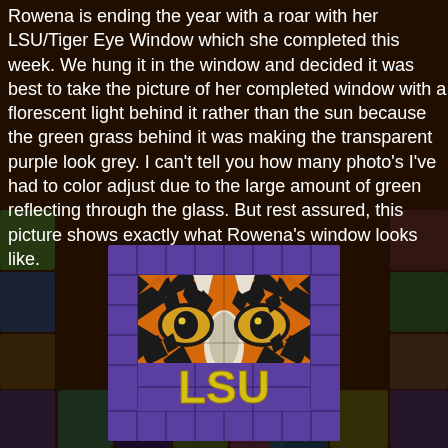Rowena is ending the year with a roar with her LSU/Tiger Eye Window which she completed this week.  We hung it in the window and decided it was best to take the picture of her completed window with a florescent light behind it rather than the sun because the green grass behind it was making the transparent purple look grey.    I can't tell you how many photo's I've had to color adjust due to the large amount of green reflecting through the glass.  But rest assured, this picture shows exactly what Rowena's window looks like.
[Figure (illustration): LSU Tiger Eye stained glass window artwork showing tiger eyes in orange and black stripes on a purple tiled background with 'LSU' text in gold/yellow letters at the bottom]